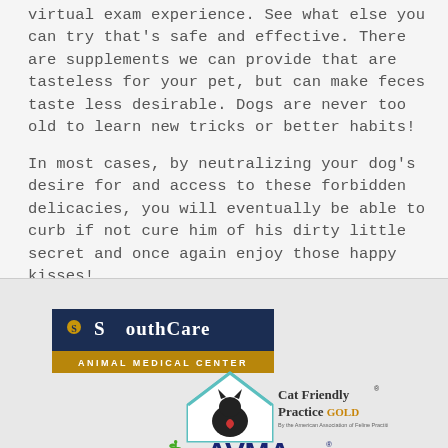virtual exam experience. See what else you can try that's safe and effective. There are supplements we can provide that are tasteless for your pet, but can make feces taste less desirable. Dogs are never too old to learn new tricks or better habits!
In most cases, by neutralizing your dog's desire for and access to these forbidden delicacies, you will eventually be able to curb if not cure him of his dirty little secret and once again enjoy those happy kisses!
[Figure (logo): SouthCare Animal Medical Center logo — dark navy blue rectangle with white bold text 'SouthCare' and a gold dot icon, with a gold/tan bar below reading 'ANIMAL MEDICAL CENTER' in white capital letters]
[Figure (logo): Cat Friendly Practice Gold logo — teal house outline shape with black cat silhouette, text reads 'Cat Friendly Practice GOLD' with small text 'By the American Association of Feline Practitioners']
[Figure (logo): AVMA logo — green snake/staff symbol on left, dark blue bold letters 'AVMA' on right with registered trademark symbol]